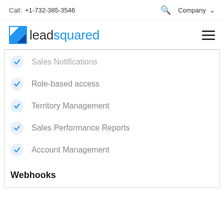Call: +1-732-385-3546  Company
[Figure (logo): LeadSquared logo with blue square icon and text 'leadsquared']
Sales Notifications
Role-based access
Territory Management
Sales Performance Reports
Account Management
Webhooks